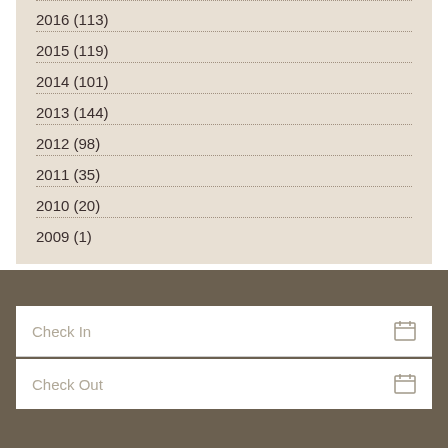2016 (113)
2015 (119)
2014 (101)
2013 (144)
2012 (98)
2011 (35)
2010 (20)
2009 (1)
Check In
Check Out